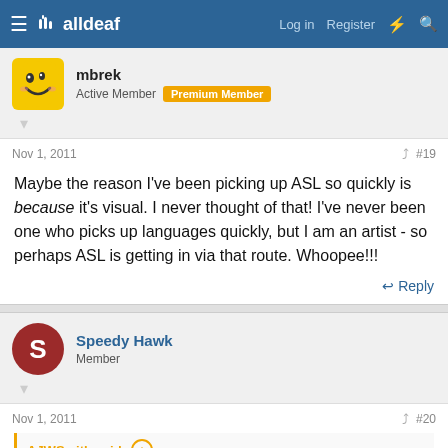alldeaf — Log in | Register
mbrek
Active Member | Premium Member
Nov 1, 2011 #19
Maybe the reason I've been picking up ASL so quickly is because it's visual. I never thought of that! I've never been one who picks up languages quickly, but I am an artist - so perhaps ASL is getting in via that route. Whoopee!!!
Reply
Speedy Hawk
Member
Nov 1, 2011 #20
AJWSmith said:
First lesson went OK. Having learned a few BSL signs already, my